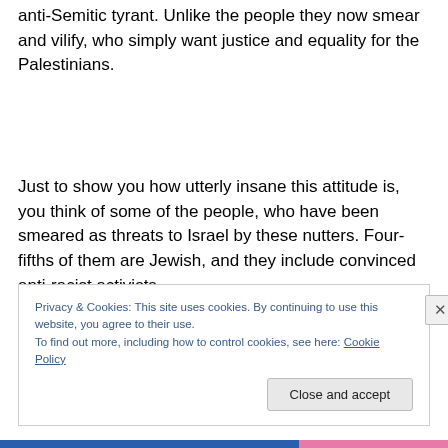anti-Semitic tyrant. Unlike the people they now smear and vilify, who simply want justice and equality for the Palestinians.
Just to show you how utterly insane this attitude is, you think of some of the people, who have been smeared as threats to Israel by these nutters. Four-fifths of them are Jewish, and they include convinced anti-racist activists,
Privacy & Cookies: This site uses cookies. By continuing to use this website, you agree to their use.
To find out more, including how to control cookies, see here: Cookie Policy